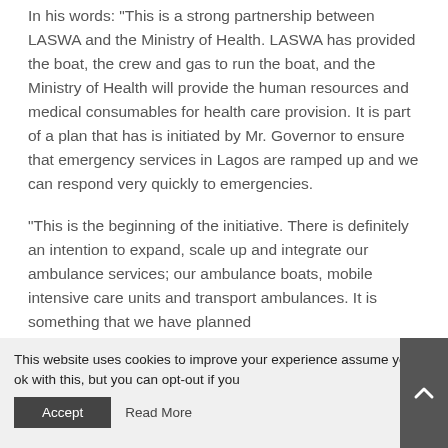In his words: "This is a strong partnership between LASWA and the Ministry of Health. LASWA has provided the boat, the crew and gas to run the boat, and the Ministry of Health will provide the human resources and medical consumables for health care provision. It is part of a plan that has is initiated by Mr. Governor to ensure that emergency services in Lagos are ramped up and we can respond very quickly to emergencies.
“This is the beginning of the initiative. There is definitely an intention to expand, scale up and integrate our ambulance services; our ambulance boats, mobile intensive care units and transport ambulances. It is something that we have planned
This website uses cookies to improve your experience assume you're ok with this, but you can opt-out if you